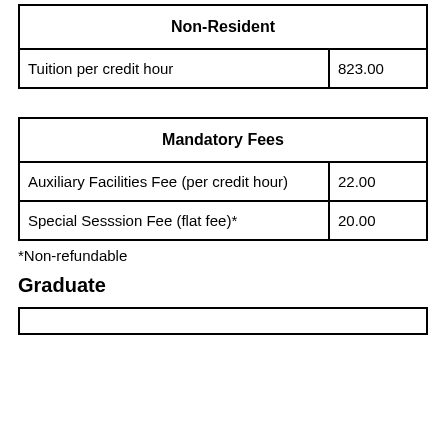| Non-Resident |  |
| --- | --- |
| Tuition per credit hour | 823.00 |
| Mandatory Fees |  |
| --- | --- |
| Auxiliary Facilities Fee (per credit hour) | 22.00 |
| Special Sesssion Fee (flat fee)* | 20.00 |
*Non-refundable
Graduate